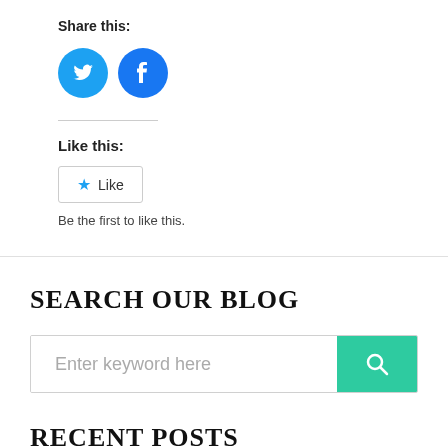Share this:
[Figure (illustration): Twitter and Facebook social sharing icon buttons (blue circles with white logos)]
Like this:
[Figure (illustration): Like button widget with star icon and text 'Like']
Be the first to like this.
SEARCH OUR BLOG
[Figure (illustration): Search bar with placeholder text 'Enter keyword here' and a teal search button with magnifying glass icon]
RECENT POSTS